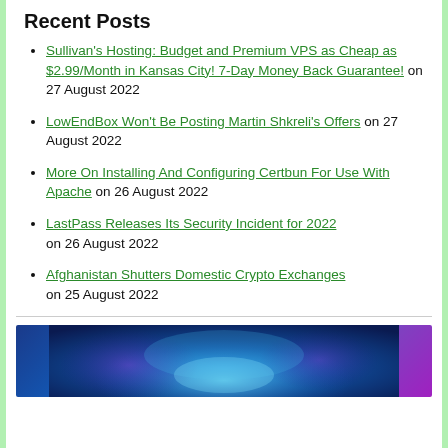Recent Posts
Sullivan's Hosting: Budget and Premium VPS as Cheap as $2.99/Month in Kansas City! 7-Day Money Back Guarantee! on 27 August 2022
LowEndBox Won't Be Posting Martin Shkreli's Offers on 27 August 2022
More On Installing And Configuring Certbun For Use With Apache on 26 August 2022
LastPass Releases Its Security Incident for 2022 on 26 August 2022
Afghanistan Shutters Domestic Crypto Exchanges on 25 August 2022
[Figure (photo): Blue and purple glowing abstract image, partially visible at bottom of page]